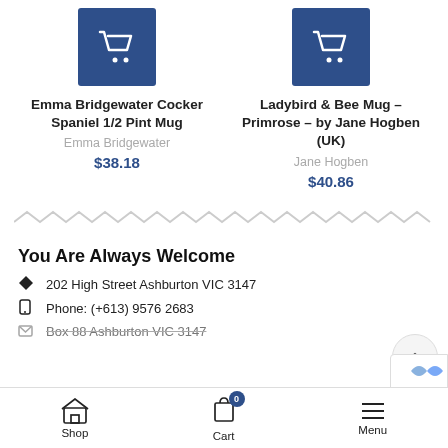[Figure (screenshot): Product card for Emma Bridgewater Cocker Spaniel 1/2 Pint Mug with cart icon, brand, and price]
[Figure (screenshot): Product card for Ladybird & Bee Mug – Primrose – by Jane Hogben (UK) with cart icon, brand, and price]
[Figure (other): Zigzag/wavy divider line]
You Are Always Welcome
202 High Street Ashburton VIC 3147
Phone: (+613) 9576 2683
Box 88 Ashburton VIC 3147
Shop   Cart   Menu